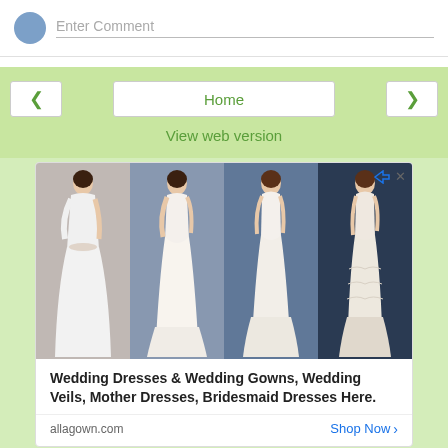Enter Comment
Home
View web version
[Figure (photo): Advertisement showing four models wearing white/cream wedding dresses and gowns against various backgrounds]
Wedding Dresses & Wedding Gowns, Wedding Veils, Mother Dresses, Bridesmaid Dresses Here.
allagown.com
Shop Now
Powered by Blogger.